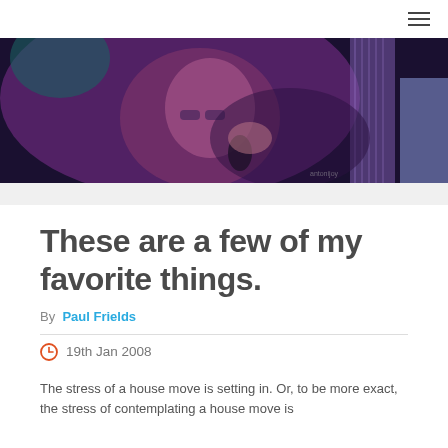≡
[Figure (photo): A man with glasses singing into a microphone under purple stage lighting, with a guitar visible to the right.]
These are a few of my favorite things.
By Paul Frields
19th Jan 2008
The stress of a house move is setting in. Or, to be more exact, the stress of contemplating a house move is